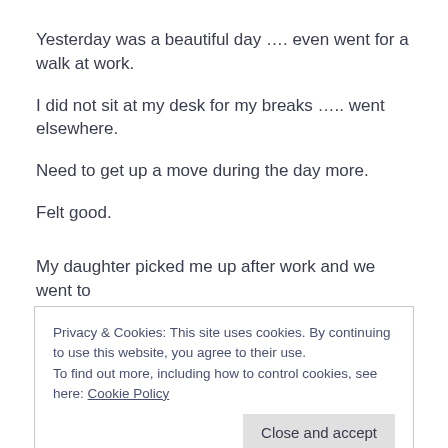Yesterday was a beautiful day …. even went for a walk at work.
I did not sit at my desk for my breaks ….. went elsewhere.
Need to get up a move during the day more.
Felt good.
My daughter picked me up after work and we went to
Privacy & Cookies: This site uses cookies. By continuing to use this website, you agree to their use. To find out more, including how to control cookies, see here: Cookie Policy